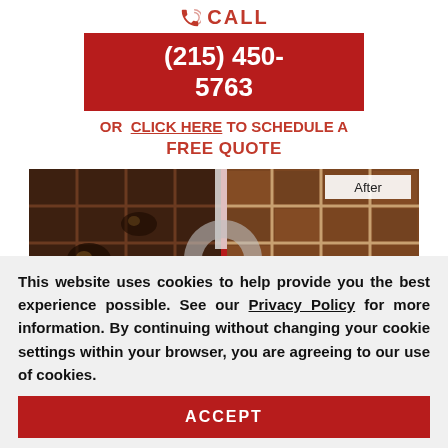CALL
(215) 450-5763
OR CLICK HERE TO SCHEDULE A FREE QUOTE
[Figure (photo): Before and after comparison of tile floor cleaning. Left side shows dirty, dark, stained tiles. Right side shows clean, restored tiles. A red vertical divider separates the two halves. 'After' label in top right. A 'Request a Free' popup button overlays the bottom right.]
This website uses cookies to help provide you the best experience possible. See our Privacy Policy for more information. By continuing without changing your cookie settings within your browser, you are agreeing to our use of cookies.
ACCEPT